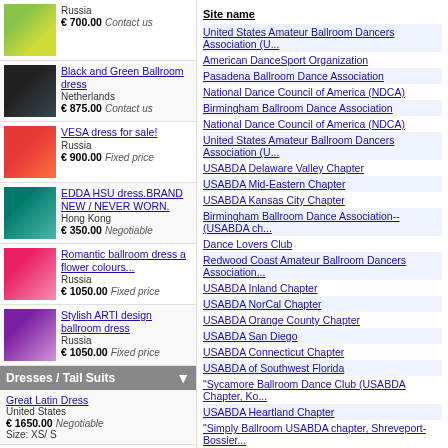Russia
€ 700.00 Contact us
Black and Green Ballroom dress
Netherlands
€ 875.00 Contact us
VESA dress for sale!
Russia
€ 900.00 Fixed price
EDDA HSU dress.BRAND NEW / NEVER WORN.
Hong Kong
€ 350.00 Negotiable
Romantic ballroom dress a flower colours...
Russia
€ 1050.00 Fixed price
Stylish ARTI design ballroom dress
Russia
€ 1050.00 Fixed price
Dresses / Tail Suits
Great Latin Dress
United States
€ 1650.00 Negotiable
Size: XS/ S
VESA DRESS
France
€ 1000.00 Fixed price
Size: S
Vesa Latin Dance Dress - pink
Switzerland
€ 999.00 Negotiable
Size: Small
Ballroom dress for sale
Site name
United States Amateur Ballroom Dancers Association (U...
American DanceSport Organization
Pasadena Ballroom Dance Association
National Dance Council of America (NDCA)
Birmingham Ballroom Dance Association
National Dance Council of America (NDCA)
United States Amateur Ballroom Dancers Association (U...
USABDA Delaware Valley Chapter
USABDA Mid-Eastern Chapter
USABDA Kansas City Chapter
Birmingham Ballroom Dance Association-- (USABDA ch...
Dance Lovers Club
Redwood Coast Amateur Ballroom Dancers Association...
USABDA Inland Chapter
USABDA NorCal Chapter
USABDA Orange County Chapter
USABDA San Diego
USABDA Connecticut Chapter
USABDA of Southwest Florida
"Sycamore Ballroom Dance Club (USABDA Chapter, Ko...
USABDA Heartland Chapter
"Simply Ballroom USABDA chapter, Shreveport-Bossier...
MASSABDA USABDA chapter
Kalamazoo Dance USABDA chapter
USABDA Minnesota Chapter
Jersey Skylands USABDA
USABDA Ohio
USABDA Willamette Chapter
USABDA Lehigh Valley Chapter
USABDA Rhode Island Chapter
Amateur Dance Club of Charleston USABDA chapter